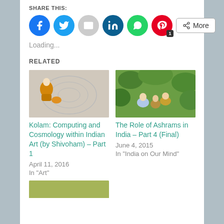SHARE THIS:
[Figure (infographic): Social share buttons: Facebook, Twitter, Email, LinkedIn, WhatsApp, Pinterest (with badge 1), and a More button]
Loading...
RELATED
[Figure (photo): Photo of a person drawing a Kolam design on the ground]
Kolam: Computing and Cosmology within Indian Art (by Shivoham) – Part 1
April 11, 2016
In "Art"
[Figure (photo): Photo of people sitting outdoors in a lush green setting, ashram scene]
The Role of Ashrams in India – Part 4 (Final)
June 4, 2015
In "India on Our Mind"
[Figure (photo): Partial thumbnail of a third related article, olive/green colored image]